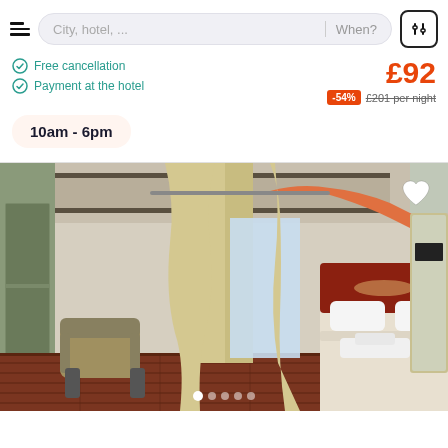City, hotel, ... | When?
Free cancellation
Payment at the hotel
£92
-54% £201 per night
10am - 6pm
[Figure (photo): Elegant hotel room with hardwood floors, beige curtains, armchair, double bed with white linens, mirror, and floral arrangement on a table near the window.]